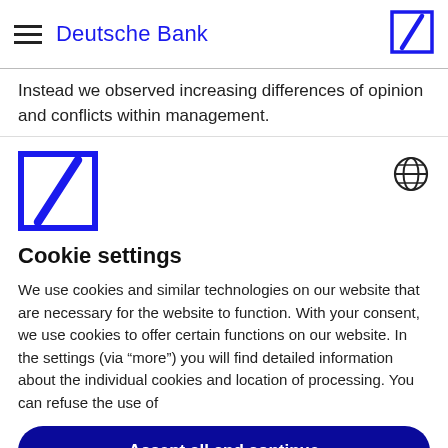Deutsche Bank
Instead we observed increasing differences of opinion and conflicts within management.
[Figure (logo): Deutsche Bank slash logo (large, blue square with diagonal slash)]
[Figure (other): Globe/language icon]
Cookie settings
We use cookies and similar technologies on our website that are necessary for the website to function. With your consent, we use cookies to offer certain functions on our website. In the settings (via “more”) you will find detailed information about the individual cookies and location of processing. You can refuse the use of
Accept all and continue
Deny and continue
Save settings